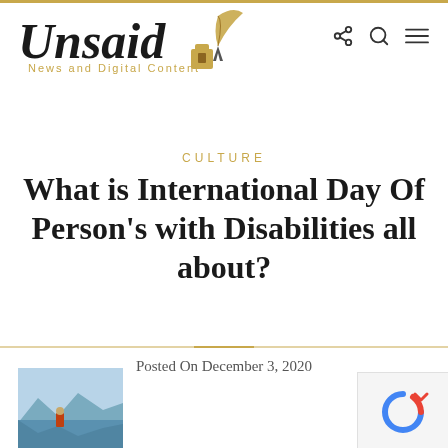Unsaid — News and Digital Content
CULTURE
What is International Day Of Person's with Disabilities all about?
Posted On December 3, 2020
[Figure (photo): Thumbnail photo showing a landscape with water and mountains, a person in red standing near the shore]
[Figure (logo): reCAPTCHA logo/widget partial view]